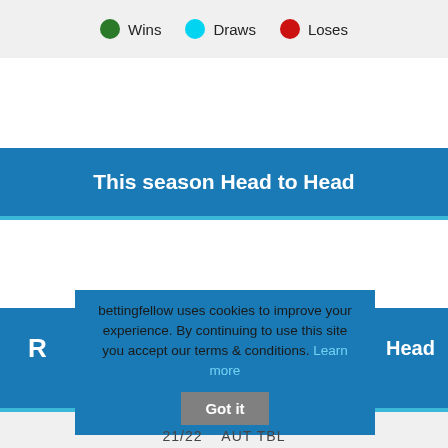[Figure (infographic): Legend bar showing three colored dots: green for Wins, cyan for Draws, red for Loses]
This season Head to Head
R
Head
bettingfellow uses cookies to improve your experience. By continuing to use this site you accept our terms & conditions. Learn more  Got it
21/22    AUT TBL